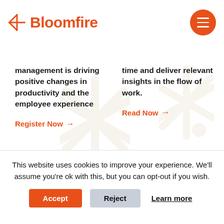Bloomfire
management is driving positive changes in productivity and the employee experience
Register Now →
time and deliver relevant insights in the flow of work.
Read Now →
This website uses cookies to improve your experience. We'll assume you're ok with this, but you can opt-out if you wish.
Accept    Reject    Learn more